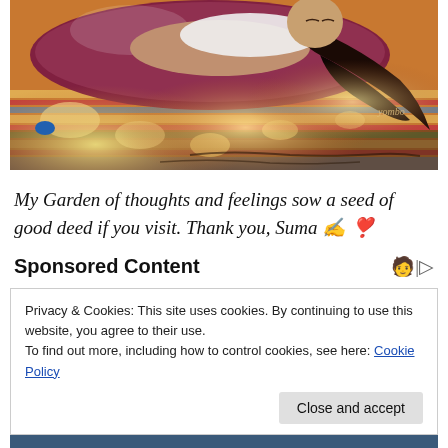[Figure (illustration): Digital illustration of a girl with long dark hair lying down on a colorful striped rug/blanket, viewed from above. Warm sunlight patterns visible. Artist signature 'yombo' visible in lower right.]
My Garden of thoughts and feelings sow a seed of good deed if you visit. Thank you, Suma ✍️ ❣️
Sponsored Content
Privacy & Cookies: This site uses cookies. By continuing to use this website, you agree to their use.
To find out more, including how to control cookies, see here: Cookie Policy
Close and accept
[Figure (photo): Partial photo visible at the bottom, appears to show a person, cropped.]